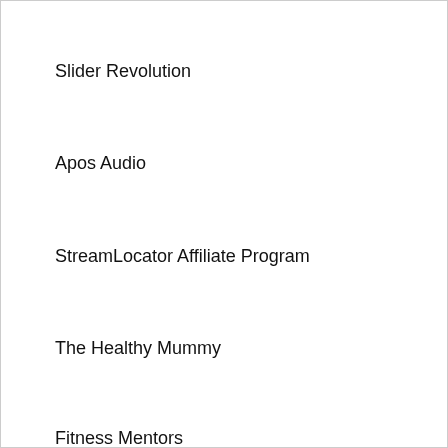Slider Revolution
Apos Audio
StreamLocator Affiliate Program
The Healthy Mummy
Fitness Mentors
Ziri Skincare
myhosmart
Elfsight
EKSA_gaming
PARZIN EYEWEAR
Velvetlust